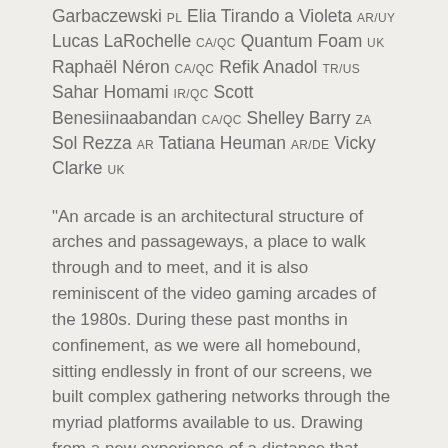Garbaczewski PL Elia Tirando a Violeta AR/UY Lucas LaRochelle CA/QC Quantum Foam UK Raphaël Néron CA/QC Refik Anadol TR/US Sahar Homami IR/QC Scott Benesiinaabandan CA/QC Shelley Barry ZA Sol Rezza AR Tatiana Heuman AR/DE Vicky Clarke UK
“An arcade is an architectural structure of arches and passageways, a place to walk through and to meet, and it is also reminiscent of the video gaming arcades of the 1980s. During these past months in confinement, as we were all homebound, sitting endlessly in front of our screens, we built complex gathering networks through the myriad platforms available to us. Drawing from a new experience of a distance that brings